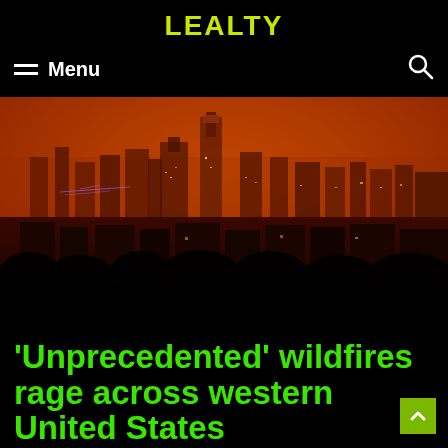LEALTY
Menu
[Figure (photo): City skyline under an intense orange-red smoky sky caused by wildfires. Buildings are lit up while the sky is a deep orange/red haze. Dark silhouettes of trees and buildings in the foreground.]
'Unprecedented' wildfires rage across western United States